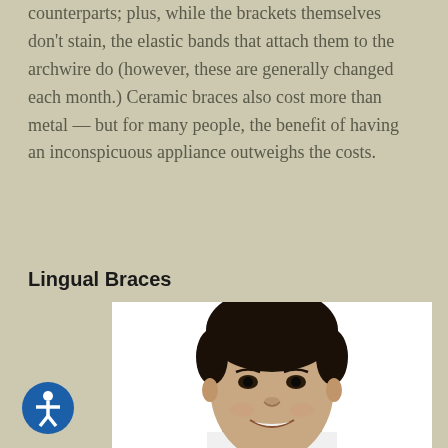counterparts; plus, while the brackets themselves don't stain, the elastic bands that attach them to the archwire do (however, these are generally changed each month.) Ceramic braces also cost more than metal — but for many people, the benefit of having an inconspicuous appliance outweighs the costs.
Lingual Braces
[Figure (photo): Portrait photo of a smiling young boy with curly dark hair against a white background, showing teeth.]